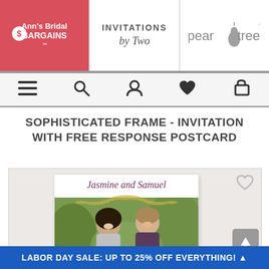Ann's Bridal Bargains | Invitations by Two | Pear Tree
SOPHISTICATED FRAME - INVITATION WITH FREE RESPONSE POSTCARD
[Figure (photo): Wedding invitation product image showing a couple (Jasmine and Samuel) in a photo framed card with a decorative gold frame border, greenery background]
LABOR DAY SALE: UP TO 25% OFF EVERYTHING!